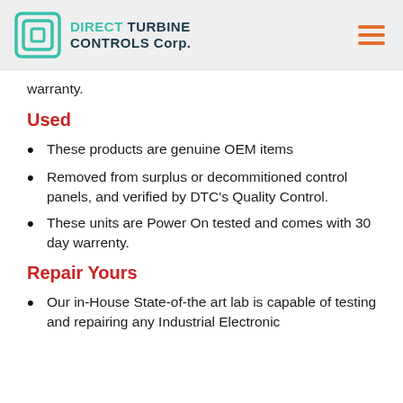DIRECT TURBINE CONTROLS Corp.
warranty.
Used
These products are genuine OEM items
Removed from surplus or decommitioned control panels, and verified by DTC's Quality Control.
These units are Power On tested and comes with 30 day warrenty.
Repair Yours
Our in-House State-of-the art lab is capable of testing and repairing any Industrial Electronic